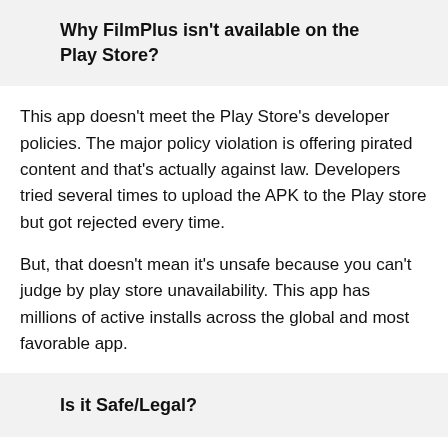Why FilmPlus isn't available on the Play Store?
This app doesn't meet the Play Store's developer policies. The major policy violation is offering pirated content and that's actually against law. Developers tried several times to upload the APK to the Play store but got rejected every time.
But, that doesn't mean it's unsafe because you can't judge by play store unavailability. This app has millions of active installs across the global and most favorable app.
Is it Safe/Legal?